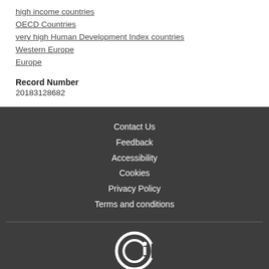high income countries
OECD Countries
very high Human Development Index countries
Western Europe
Europe
Record Number
20183128682
Contact Us
Feedback
Accessibility
Cookies
Privacy Policy
Terms and conditions
© Copyright 2022 CAB International. CABI is a registered EU